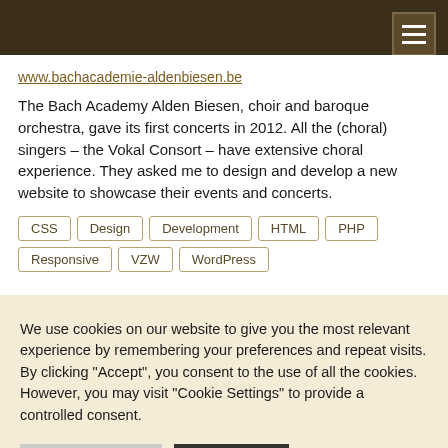www.bachacademie-aldenbiesen.be
The Bach Academy Alden Biesen, choir and baroque orchestra, gave its first concerts in 2012. All the (choral) singers – the Vokal Consort – have extensive choral experience. They asked me to design and develop a new website to showcase their events and concerts.
CSS
Design
Development
HTML
PHP
Responsive
VZW
WordPress
We use cookies on our website to give you the most relevant experience by remembering your preferences and repeat visits. By clicking "Accept", you consent to the use of all the cookies. However, you may visit "Cookie Settings" to provide a controlled consent.
Cookie Settings  Accept